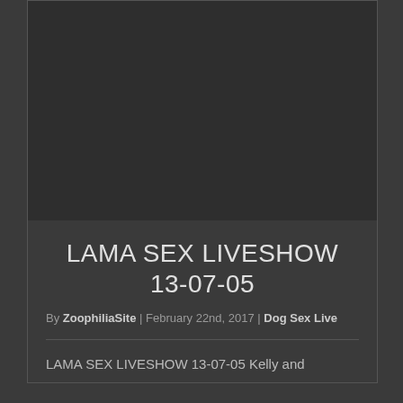[Figure (photo): Dark rectangular placeholder image area]
LAMA SEX LIVESHOW 13-07-05
By ZoophiliaSite | February 22nd, 2017 | Dog Sex Live
LAMA SEX LIVESHOW 13-07-05 Kelly and